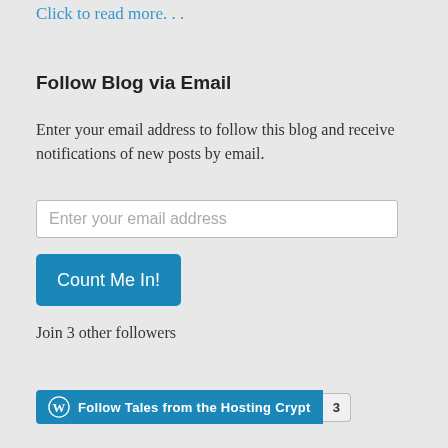Click to read more. . .
Follow Blog via Email
Enter your email address to follow this blog and receive notifications of new posts by email.
Enter your email address
Count Me In!
Join 3 other followers
Follow Tales from the Hosting Crypt  3